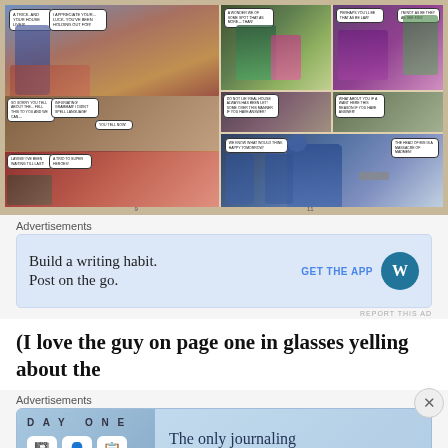[Figure (illustration): Comic book page spread showing multiple panels with superhero characters. Left half shows a large action panel with a man in a blue coat, speech bubbles, and red/orange action scenes. Right half shows smaller panels with green-costumed hero fighting, purple villain, and bottom panel with a man in blue cap pointing a gun.]
Advertisements
[Figure (infographic): Advertisement for WordPress app. Blue background box with text 'Build a writing habit. Post on the go.' and 'GET THE APP' button with WordPress logo (W in blue circle).]
REPORT THIS AD
(I love the guy on page one in glasses yelling about the
Advertisements
[Figure (infographic): Advertisement for Day One journaling app. Light blue background with 'DAY ONE' brand name, three icons (notebook, person, list), and tagline 'The only journaling app you'll ever need.']